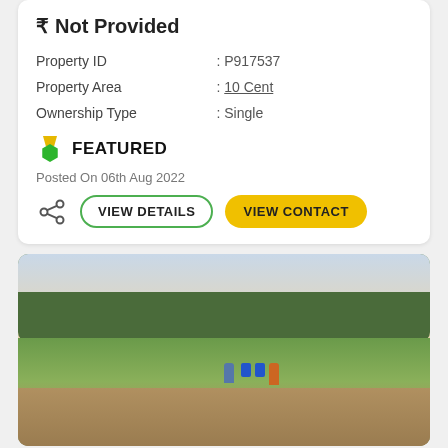₹ Not Provided
Property ID : P917537
Property Area : 10 Cent
Ownership Type : Single
FEATURED
Posted On 06th Aug 2022
VIEW DETAILS
VIEW CONTACT
[Figure (photo): Outdoor land plot photo showing an open green field with trees in the background, two people standing with blue barrels, dirt patches on ground, overcast sky]